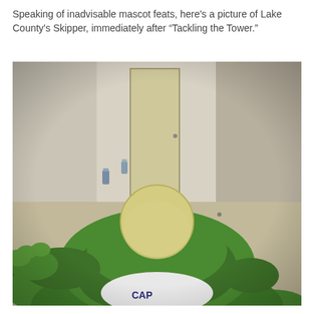Speaking of inadvisable mascot feats, here's a picture of Lake County's Skipper, immediately after “Tackling the Tower.”
[Figure (photo): A photo taken from a first-person perspective of a green furry mascot costume (Skipper, Lake County's mascot) lying on the floor of a beige/cream-colored room. The mascot has a round yellowish head, green fuzzy body, and is wearing a white jersey. Several small water bottles are visible scattered on the floor. The room has plain walls and a door in the background.]